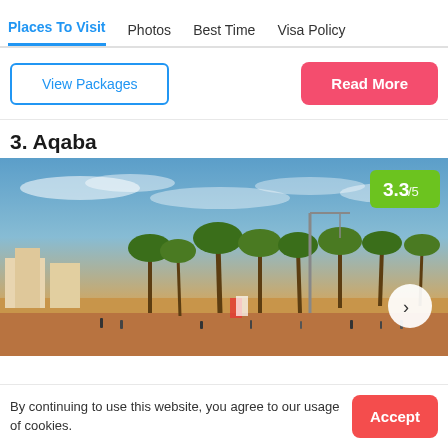Places To Visit | Photos | Best Time | Visa Policy
View Packages
Read More
3. Aqaba
[Figure (photo): Coastal beach scene in Aqaba, Jordan with palm trees, waterfront, crowds of people, warm golden sunset light, blue sky with clouds, and a rating badge showing 3.3/5]
By continuing to use this website, you agree to our usage of cookies.
Accept